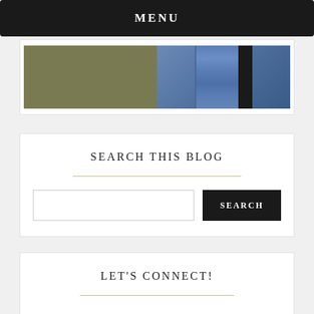MENU
[Figure (photo): Partial photo of a person wearing blue jeans against an olive/tan background, cropped to show midsection only]
SEARCH THIS BLOG
LET'S CONNECT!